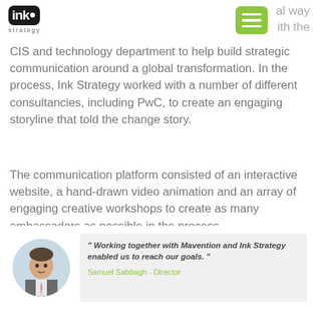al way ith the
CIS and technology department to help build strategic communication around a global transformation. In the process, Ink Strategy worked with a number of different consultancies, including PwC, to create an engaging storyline that told the change story.
The communication platform consisted of an interactive website, a hand-drawn video animation and an array of engaging creative workshops to create as many ambassadors as possible in the process.
[Figure (photo): Circular portrait photo of Samuel Sabbagh, a man in a suit and tie]
" Working together with Mavention and Ink Strategy enabled us to reach our goals. "
Samuel Sabbagh - Director